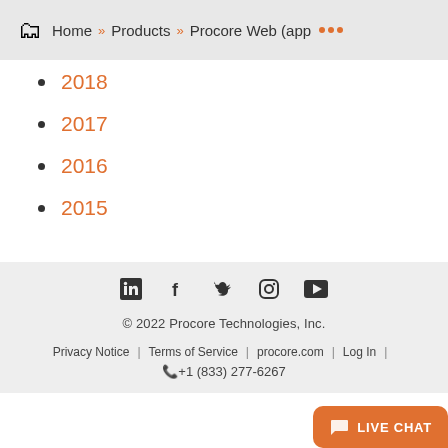Home » Products » Procore Web (app ...
2018
2017
2016
2015
© 2022 Procore Technologies, Inc. | Privacy Notice | Terms of Service | procore.com | Log In | +1 (833) 277-6267